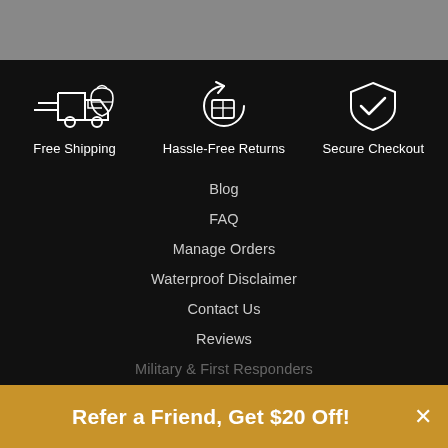[Figure (illustration): Gray header bar at top of page]
[Figure (illustration): Three icons in a row on black background: Free Shipping (truck with lines), Hassle-Free Returns (circular arrow with box), Secure Checkout (shield with checkmark)]
Free Shipping
Hassle-Free Returns
Secure Checkout
Blog
FAQ
Manage Orders
Waterproof Disclaimer
Contact Us
Reviews
Military & First Responders
Healthcare Workers
Refer a Friend, Get $20 Off!